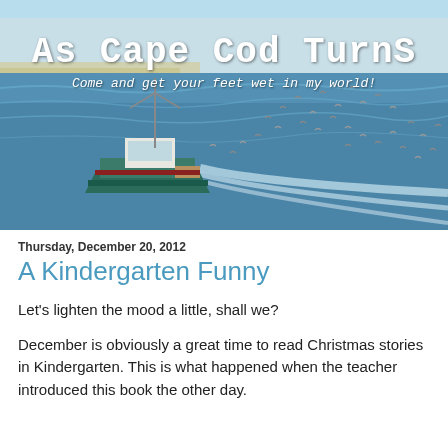[Figure (photo): Blog header banner with a fishing boat on the ocean surrounded by seagulls, with the blog title 'As Cape Cod Turns' and subtitle 'Come and get your feet wet in my world!' overlaid on the photo.]
As Cape Cod Turns
Come and get your feet wet in my world!
Thursday, December 20, 2012
A Kindergarten Funny
Let's lighten the mood a little, shall we?
December is obviously a great time to read Christmas stories in Kindergarten. This is what happened when the teacher introduced this book the other day.